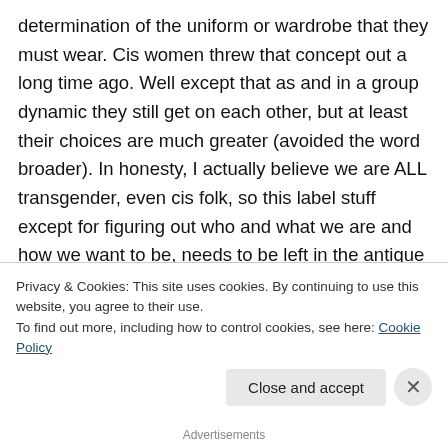determination of the uniform or wardrobe that they must wear. Cis women threw that concept out a long time ago. Well except that as and in a group dynamic they still get on each other, but at least their choices are much greater (avoided the word broader). In honesty, I actually believe we are ALL transgender, even cis folk, so this label stuff except for figuring out who and what we are and how we want to be, needs to be left in the antique trunk in the back of the closet. Your style of presentation should be your own personal
Privacy & Cookies: This site uses cookies. By continuing to use this website, you agree to their use.
To find out more, including how to control cookies, see here: Cookie Policy
Advertisements